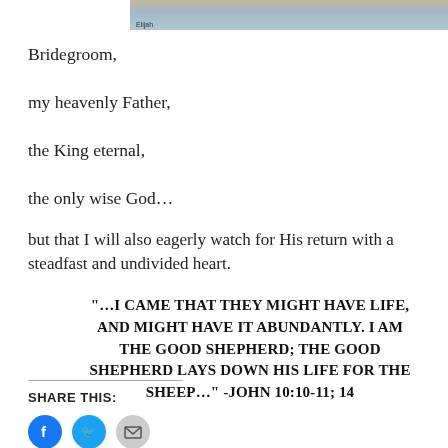[Figure (photo): Partial image at top of page showing a landscape/painting with muted blue and tan tones, with a small text label visible]
Bridegroom,
my heavenly Father,
the King eternal,
the only wise God...
but that I will also eagerly watch for His return with a steadfast and undivided heart.
“…I CAME THAT THEY MIGHT HAVE LIFE, AND MIGHT HAVE IT ABUNDANTLY. I AM THE GOOD SHEPHERD; THE GOOD SHEPHERD LAYS DOWN HIS LIFE FOR THE SHEEP…” -JOHN 10:10-11; 14
SHARE THIS: